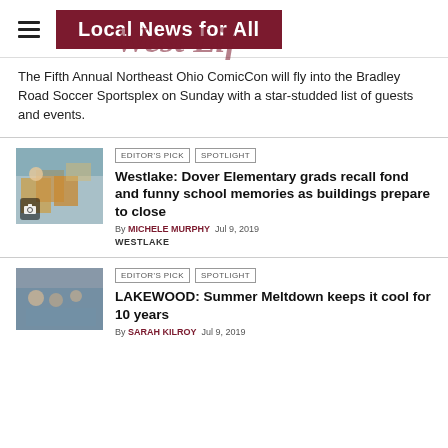Local News for All
The Fifth Annual Northeast Ohio ComicCon will fly into the Bradley Road Soccer Sportsplex on Sunday with a star-studded list of guests and events.
[Figure (photo): Child packing boxes in classroom]
EDITOR'S PICK  SPOTLIGHT
Westlake: Dover Elementary grads recall fond and funny school memories as buildings prepare to close
By MICHELE MURPHY  Jul 9, 2019
WESTLAKE
[Figure (photo): Crowd at summer event]
EDITOR'S PICK  SPOTLIGHT
LAKEWOOD: Summer Meltdown keeps it cool for 10 years
By SARAH KILROY  Jul 9, 2019